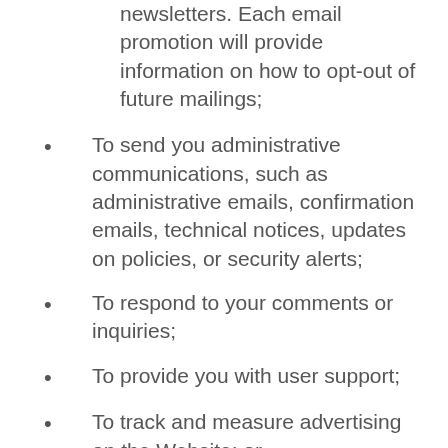newsletters. Each email promotion will provide information on how to opt-out of future mailings;
To send you administrative communications, such as administrative emails, confirmation emails, technical notices, updates on policies, or security alerts;
To respond to your comments or inquiries;
To provide you with user support;
To track and measure advertising on the Website; or,
To protect, investigate, and deter against unauthorized or